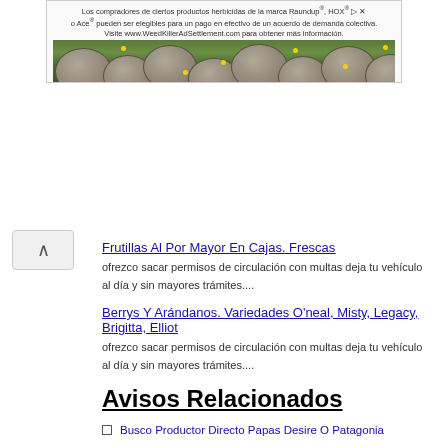[Figure (infographic): Advertisement banner for WeedKillerAdSettlement.com with text about Roundup and Ace herbicide products class action settlement, followed by a photo of stones and yellow flowers]
Frutillas Al Por Mayor En Cajas. Frescas
ofrezco sacar permisos de circulación con multas deja tu vehículo al día y sin mayores trámites....
Berrys Y Arándanos. Variedades O'neal, Misty, Legacy, Brigitta, Elliot
ofrezco sacar permisos de circulación con multas deja tu vehículo al día y sin mayores trámites....
Avisos Relacionados
Busco Productor Directo Papas Desire O Patagonia
Botiquin Minero ,los Bronces, Escondida, Codelco, Collahuasi,spence, Cerro Colorado, Mejor Precio
Cubre Tableros De Alfombra Uso Automotriz Busque El Suyo Maxivit Spa Quillota
Botiquines Mineros Los Bronces La Mejor Calidad Aprobados Por Anglo American Fabrica De Cubre Tableros De Alfombra
Dilour Uso Automotriz Consulte Por Marca -